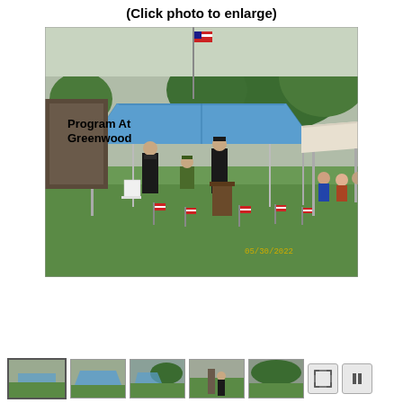(Click photo to enlarge)
[Figure (photo): Outdoor memorial ceremony at Greenwood cemetery on 05/30/2022. People stand and sit under a blue canopy tent with American flags placed in the grass. A speaker stands at a podium. Text overlay reads 'Program At Greenwood'.]
[Figure (photo): Row of thumbnail photos at the bottom of the page showing various scenes from the memorial event, along with fullscreen and pause control buttons.]